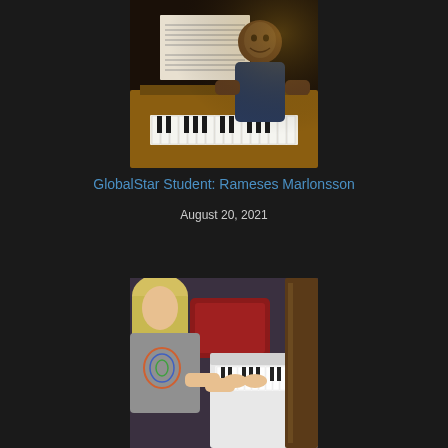[Figure (photo): Young man smiling at camera while seated at a wooden upright piano, sheet music visible on music stand, wearing a dark blue t-shirt]
GlobalStar Student: Rameses Marlonsson
August 20, 2021
[Figure (photo): Person with blonde hair playing a white keyboard/piano, wearing a gray t-shirt with colorful design, red cushioned furniture visible in background]